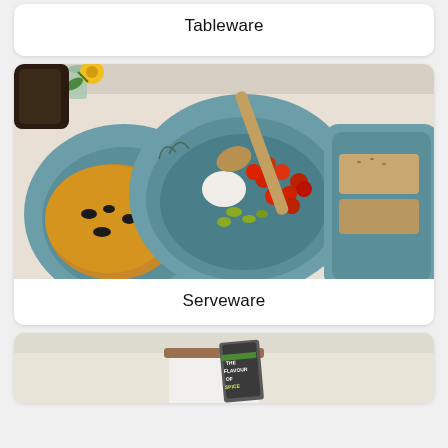Tableware
[Figure (photo): Aerial view of blue-teal ceramic serveware with botanical leaf engravings on a linen tablecloth, featuring a large bowl with cherry tomatoes, olives, mozzarella and a wooden spoon, a round plate with focaccia bread, and a rectangular tray with bread slices. A small glass vase with a yellow flower is in the upper left corner.]
Serveware
[Figure (photo): White ceramic canister with wooden lid on a light cream background, with a dark spice packet leaning against it showing partial text 'THE FLAVOUR OF SPICE'.]